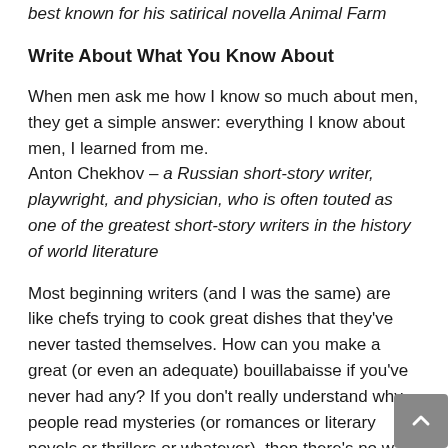best known for his satirical novella Animal Farm
Write About What You Know About
When men ask me how I know so much about men, they get a simple answer: everything I know about men, I learned from me.
Anton Chekhov – a Russian short-story writer, playwright, and physician, who is often touted as one of the greatest short-story writers in the history of world literature
Most beginning writers (and I was the same) are like chefs trying to cook great dishes that they've never tasted themselves. How can you make a great (or even an adequate) bouillabaisse if you've never had any? If you don't really understand why people read mysteries (or romances or literary novels or thrillers or whatever), then there's no way in the world you're